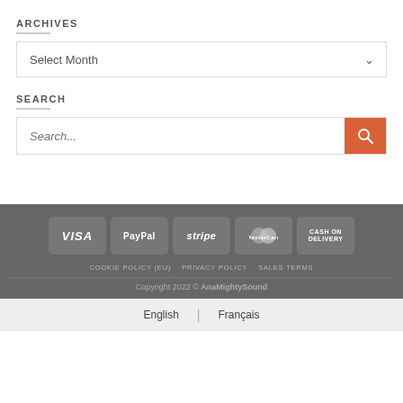ARCHIVES
Select Month
SEARCH
Search...
COOKIE POLICY (EU)  PRIVACY POLICY  SALES TERMS  Copyright 2022 © AnaMightySound  English  Français